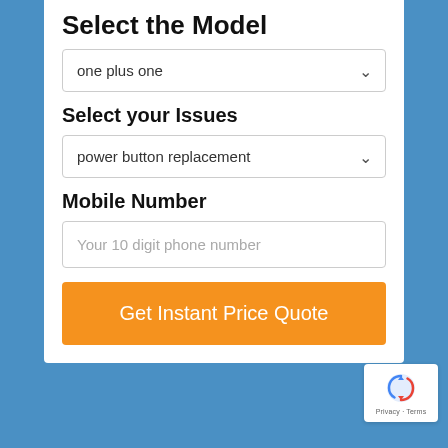Select the Model
one plus one
Select your Issues
power button replacement
Mobile Number
Your 10 digit phone number
Get Instant Price Quote
[Figure (screenshot): reCAPTCHA badge with Privacy and Terms text]